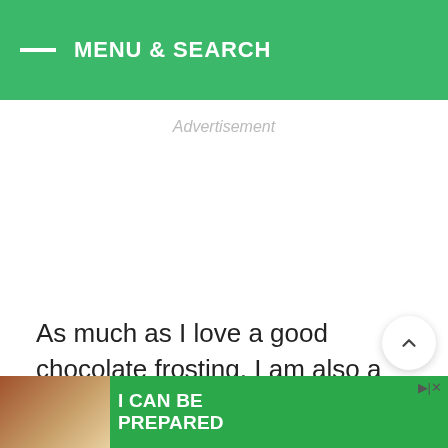MENU & SEARCH
Advertisement
As much as I love a good chocolate frosting, I am also a fan of the classic vanilla and cream cheese frostings. With just ONE recipe base, can easily create at least three frosting flavors, that a[…]ts.
[Figure (screenshot): Bottom advertisement banner with text I CAN BE PREPARED on green background, with image of people on left side]